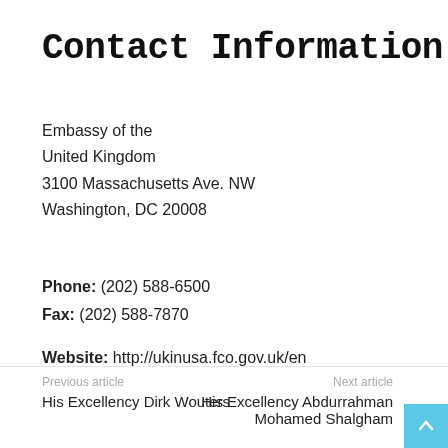Contact Information
Embassy of the
United Kingdom
3100 Massachusetts Ave. NW
Washington, DC 20008
Phone: (202) 588-6500
Fax: (202) 588-7870
Website: http://ukinusa.fco.gov.uk/en
Previous article
His Excellency Dirk Wouters
Next article
His Excellency Abdurrahman Mohamed Shalgham